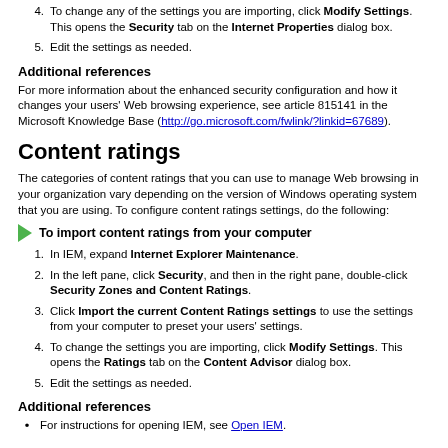4. To change any of the settings you are importing, click Modify Settings. This opens the Security tab on the Internet Properties dialog box.
5. Edit the settings as needed.
Additional references
For more information about the enhanced security configuration and how it changes your users' Web browsing experience, see article 815141 in the Microsoft Knowledge Base (http://go.microsoft.com/fwlink/?linkid=67689).
Content ratings
The categories of content ratings that you can use to manage Web browsing in your organization vary depending on the version of Windows operating system that you are using. To configure content ratings settings, do the following:
To import content ratings from your computer
1. In IEM, expand Internet Explorer Maintenance.
2. In the left pane, click Security, and then in the right pane, double-click Security Zones and Content Ratings.
3. Click Import the current Content Ratings settings to use the settings from your computer to preset your users' settings.
4. To change the settings you are importing, click Modify Settings. This opens the Ratings tab on the Content Advisor dialog box.
5. Edit the settings as needed.
Additional references
For instructions for opening IEM, see Open IEM.